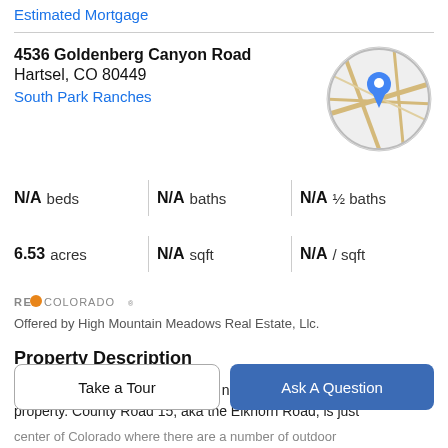Estimated Mortgage
4536 Goldenberg Canyon Road
Hartsel, CO 80449
South Park Ranches
[Figure (map): Circular map thumbnail with a blue location pin marker]
N/A beds | N/A baths | N/A ½ baths
6.53 acres | N/A sqft | N/A / sqft
[Figure (logo): RE/Colorado logo]
Offered by High Mountain Meadows Real Estate, Llc.
Property Description
Get away from the city and enjoy nature on this 6.53 acre property. County Road 15, aka the Elkhorn Road, is just
center of Colorado where there are a number of outdoor